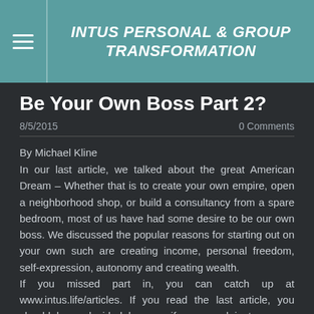INTUS PERSONAL & GROUP TRANSFORMATION
Be Your Own Boss Part 2?
8/5/2015   0 Comments
By Michael Kline
In our last article, we talked about the great American Dream – Whether that is to create your own empire, open a neighborhood shop, or build a consultancy from a spare bedroom, most of us have had some desire to be our own boss.  We discussed the popular reasons for starting out on your own such are creating income, personal freedom, self-expression, autonomy and creating wealth.
If you missed part in, you can catch up at www.intus.life/articles. If you read the last article, you should have decided by now if your goal is to own a business or to own a job – you understand the difference between being self-employed, and working for your own company. You understand something about creating equity in...